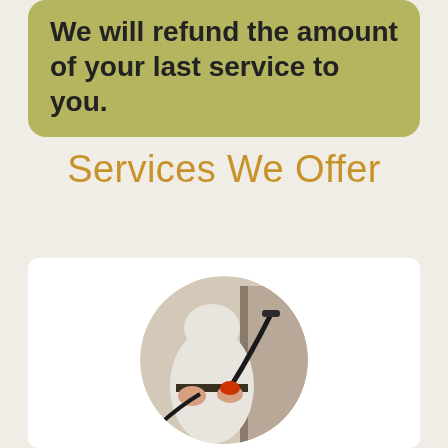We will refund the amount of your last service to you.
Services We Offer
[Figure (photo): A person in a white protective suit holding a pest control spray wand, photographed in a circular crop]
Pest Control